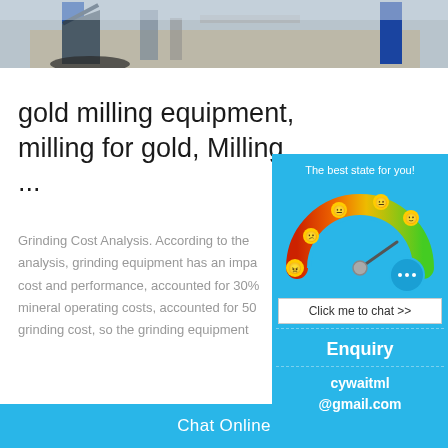[Figure (photo): Outdoor industrial milling/mining equipment site with blue structural supports and conveyor or stairway elements, construction in background]
gold milling equipment, milling for gold, Milling ...
Grinding Cost Analysis. According to the analysis, grinding equipment has an impact cost and performance, accounted for 30% mineral operating costs, accounted for 50% grinding cost, so the grinding equipment
[Figure (infographic): Chat widget popup showing a gauge/meter with red-orange-green color arc and emoji faces, 'The best state for you!' text, chat bubble icon, 'Click me to chat >>' button, Enquiry section, and cywaitml@gmail.com contact]
Chat Online